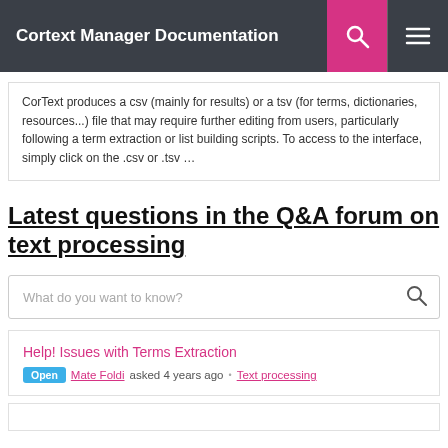Cortext Manager Documentation
CorText produces a csv (mainly for results) or a tsv (for terms, dictionaries, resources...) file that may require further editing from users, particularly following a term extraction or list building scripts. To access to the interface, simply click on the .csv or .tsv ...
Latest questions in the Q&A forum on text processing
What do you want to know?
Help! Issues with Terms Extraction
Open Mate Foldi asked 4 years ago • Text processing